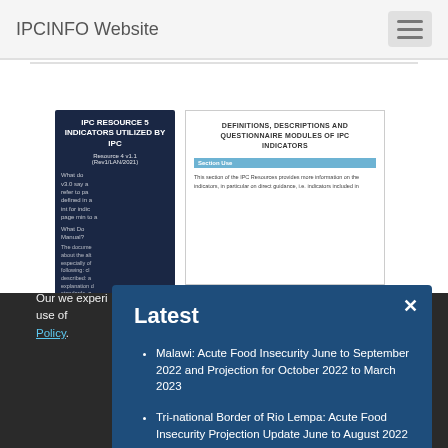IPCINFO Website
[Figure (screenshot): Thumbnail of IPC Resource 5 document cover with dark blue background titled 'IPC Resource 5 Indicators Utilized by IPC']
[Figure (screenshot): Thumbnail of document page titled 'Definitions, descriptions and questionnaire modules of IPC indicators' with section bar and body text]
Latest
Malawi: Acute Food Insecurity June to September 2022 and Projection for October 2022 to March 2023
Tri-national Border of Rio Lempa: Acute Food Insecurity Projection Update June to August 2022
Our we experience to this use of Privacy Policy.
OK